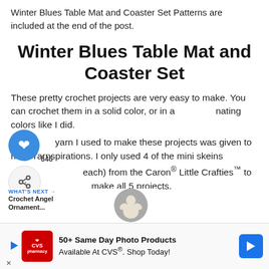Winter Blues Table Mat and Coaster Set Patterns are included at the end of the post.
Winter Blues Table Mat and Coaster Set
These pretty crochet projects are very easy to make. You can crochet them in a solid color, or in alternating colors like I did.
The yarn I used to make these projects was given to me by Yarnspirations. I only used 4 of the mini skeins (each) from the Caron® Little Crafties™ to make all 5 projects.
[Figure (screenshot): Social sharing widget with heart/like button (blue circle, 646 count) and share button, overlaid on main text]
[Figure (screenshot): What's Next panel showing Crochet Angel Ornament... with circular thumbnail image]
[Figure (screenshot): CVS advertisement banner: 50+ Same Day Photo Products Available At CVS®. Shop Today! with CVS logo and blue arrow]